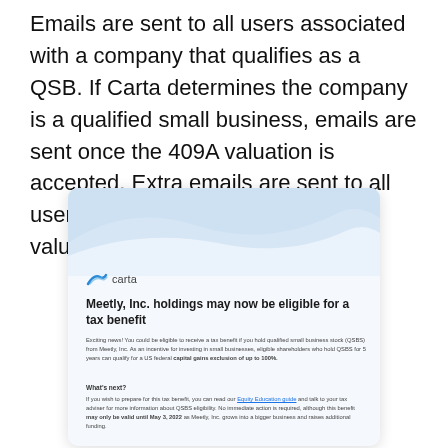Emails are sent to all users associated with a company that qualifies as a QSB. If Carta determines the company is a qualified small business, emails are sent once the 409A valuation is accepted. Extra emails are sent to all users each time the company's valuation includes eligibility.
[Figure (screenshot): Screenshot of a Carta email notification informing Meetly, Inc. users that their holdings may be eligible for a tax benefit (QSBS). The email includes the Carta logo, a headline 'Meetly, Inc. holdings may now be eligible for a tax benefit', body text about QSBS eligibility and capital gains exclusion of up to 100%, a 'What's next?' section with a link to Equity Education guide, and a note that the benefit may only be valid until May 3, 2022.]